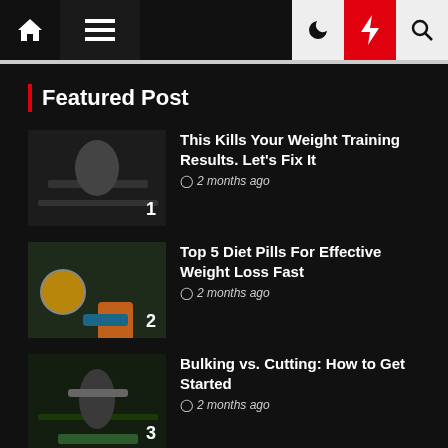Navigation bar with home, menu, dark mode, lightning bolt, and search icons
Featured Post
1. This Kills Your Weight Training Results. Let's Fix It — 2 months ago
2. Top 5 Diet Pills For Effective Weight Loss Fast — 2 months ago
3. Bulking vs. Cutting: How to Get Started — 2 months ago
4. 25 Best Whey Proteins for Women in [continues]